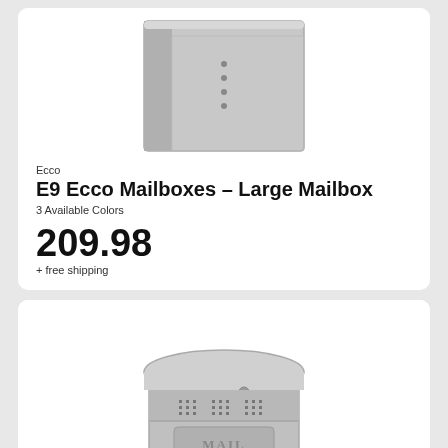[Figure (photo): Silver/stainless steel large wall-mounted mailbox (E9 Ecco) shown from front angle, cropped at top]
Ecco
E9 Ecco Mailboxes – Large Mailbox
3 Available Colors
209.98
+ free shipping
[Figure (photo): Round cylindrical silver stainless steel wall mailbox with curved lid on top, ventilation grilles and mail slot, shown from front]